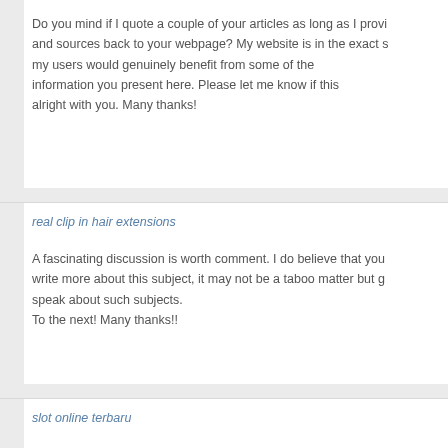Do you mind if I quote a couple of your articles as long as I provi and sources back to your webpage? My website is in the exact s my users would genuinely benefit from some of the information you present here. Please let me know if this alright with you. Many thanks!
real clip in hair extensions
A fascinating discussion is worth comment. I do believe that you write more about this subject, it may not be a taboo matter but g speak about such subjects.
To the next! Many thanks!!
slot online terbaru
slot online terbaru – Pengecualian & ketangkasan adalah yang d karena itu, ANGPAOHOKI telah menyediakan Sajian Slot Androi untuk kalian kejai memiber tercinta untuk mereguk bervariasi ke